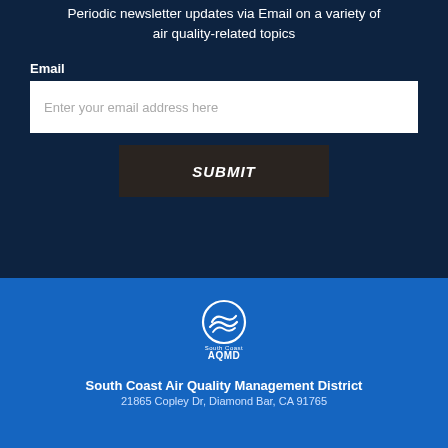Periodic newsletter updates via Email on a variety of air quality-related topics
Email
Enter your email address here
SUBMIT
[Figure (logo): South Coast AQMD logo — circular emblem with wave/wind design in white on blue background, with 'South Coast' text above 'AQMD' in bold white letters]
South Coast Air Quality Management District
21865 Copley Dr, Diamond Bar, CA 91765